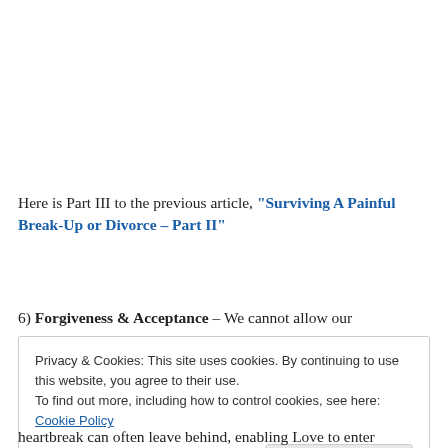Here is Part III to the previous article, “Surviving A Painful Break-Up or Divorce – Part II”
6) Forgiveness & Acceptance – We cannot allow our
Privacy & Cookies: This site uses cookies. By continuing to use this website, you agree to their use.
To find out more, including how to control cookies, see here: Cookie Policy
Close and accept
heartbreak can often leave behind, enabling Love to enter